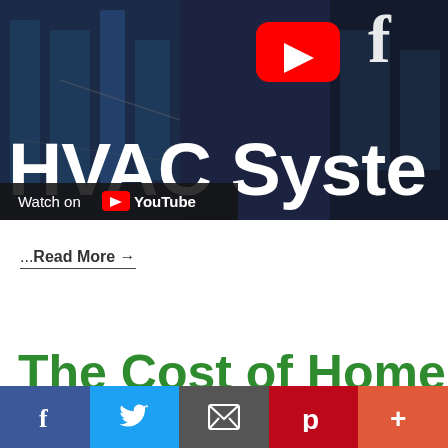[Figure (screenshot): YouTube video thumbnail for HVAC Systems video. Dark background with HVAC equipment visible. Large white bold text reads 'HVAC Syste' (truncated). YouTube play button icon in red. Facebook 'f' logo partially visible top right. 'Watch on YouTube' bar at bottom left.]
...Read More →
The Cost of Home
[Figure (screenshot): Social sharing bar at bottom with Facebook (blue), Twitter (light blue), Email (dark gray), Pinterest (red), and More (orange-red) buttons.]